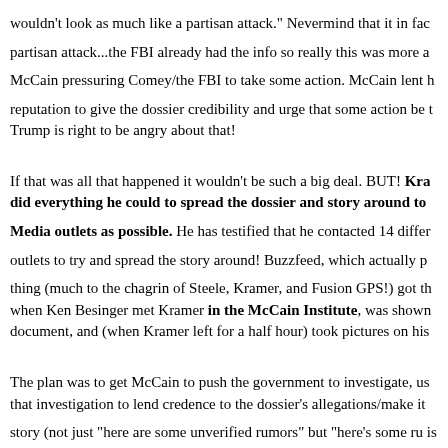wouldn't look as much like a partisan attack." Nevermind that it in fact was a partisan attack...the FBI already had the info so really this was more about McCain pressuring Comey/the FBI to take some action. McCain lent his reputation to give the dossier credibility and urge that some action be taken. Trump is right to be angry about that!
If that was all that happened it wouldn't be such a big deal. BUT! Kramer did everything he could to spread the dossier and story around to as many Media outlets as possible. He has testified that he contacted 14 different outlets to try and spread the story around! Buzzfeed, which actually published the thing (much to the chagrin of Steele, Kramer, and Fusion GPS!) got the dossier when Ken Besinger met Kramer in the McCain Institute, was shown the document, and (when Kramer left for a half hour) took pictures on his phone.
The plan was to get McCain to push the government to investigate, use that investigation to lend credence to the dossier's allegations/make it a news story (not just "here are some unverified rumors" but "here's some rumors FBI is taking seriously enough to investigate") and get that story spread as widely as possible. The plan only backfired when Buzzfeed, thinking they were trying to harm Trump, published the actual dossier and parts of it were quickly